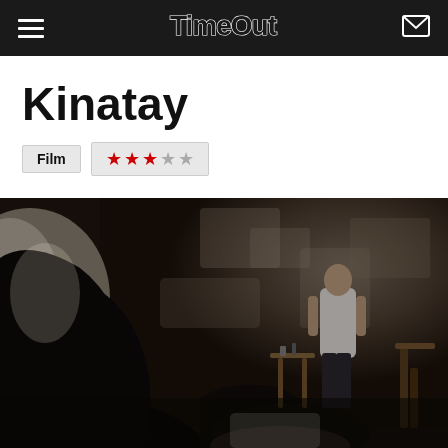TimeOut
Kinatay
Film ★★★☆☆
[Figure (photo): A dark, moody film still from Kinatay showing a man in a white t-shirt standing against a deteriorating wall in low light, with silhouetted figures in the foreground]